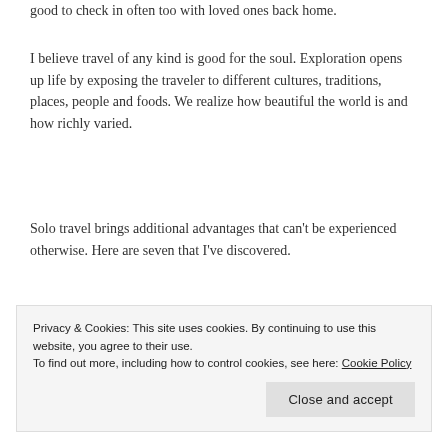good to check in often too with loved ones back home.
I believe travel of any kind is good for the soul. Exploration opens up life by exposing the traveler to different cultures, traditions, places, people and foods. We realize how beautiful the world is and how richly varied.
Solo travel brings additional advantages that can't be experienced otherwise. Here are seven that I've discovered.
Privacy & Cookies: This site uses cookies. By continuing to use this website, you agree to their use.
To find out more, including how to control cookies, see here: Cookie Policy
Close and accept